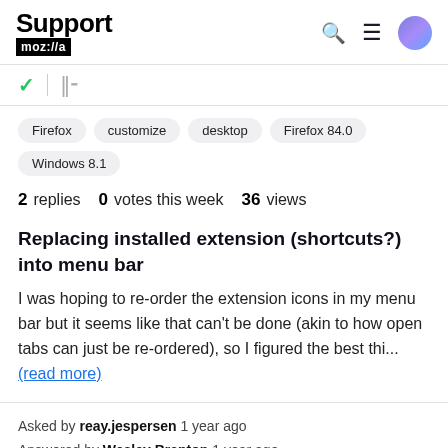Support moz://a
[Figure (infographic): Toolbar with green checkmark, vertical divider, and library/stack icon]
Firefox
customize
desktop
Firefox 84.0
Windows 8.1
2 replies  0 votes this week  36 views
Replacing installed extension (shortcuts?) into menu bar
I was hoping to re-order the extension icons in my menu bar but it seems like that can't be done (akin to how open tabs can just be re-ordered), so I figured the best thi... (read more)
Asked by reay.jespersen 1 year ago
Answered by Wesley Branton 1 year ago